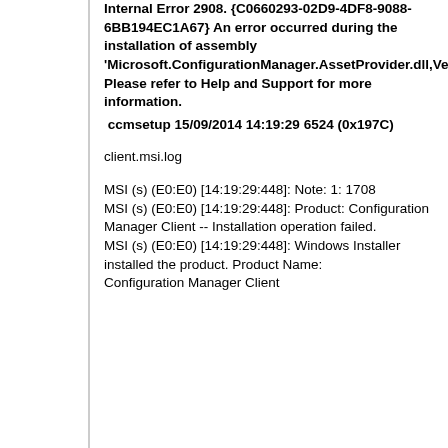Internal Error 2908. {C0660293-02D9-4DF8-9088-6BB194EC1A67} An error occurred during the installation of assembly 'Microsoft.ConfigurationManager.AssetProvider.dll,Version="5.0.0.0",Culture="neutral",PublicKeyToken="31bf3856ad364e35"'. Please refer to Help and Support for more information.
ccmsetup 15/09/2014 14:19:29 6524 (0x197C)
client.msi.log
MSI (s) (E0:E0) [14:19:29:448]: Note: 1: 1708
MSI (s) (E0:E0) [14:19:29:448]: Product: Configuration Manager Client -- Installation operation failed.
MSI (s) (E0:E0) [14:19:29:448]: Windows Installer installed the product. Product Name: Configuration Manager Client